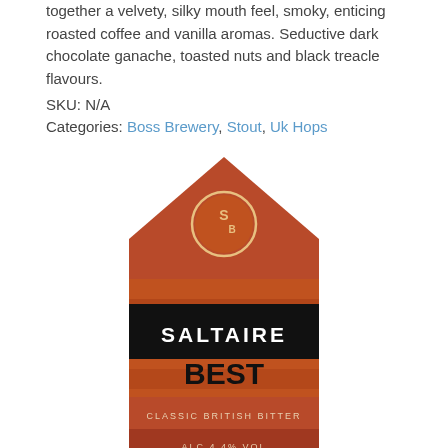together a velvety, silky mouth feel, smoky, enticing roasted coffee and vanilla aromas. Seductive dark chocolate ganache, toasted nuts and black treacle flavours.
SKU: N/A
Categories: Boss Brewery, Stout, Uk Hops
[Figure (illustration): Saltaire Brewery Best beer label. House/pentagon shaped label with orange-red gradient background. Top has a circular badge with 'SB' initials. Middle black band reads 'SALTAIRE' in white bold text. Below that 'BEST' in large bold black text. Lower section has two red bands reading 'CLASSIC BRITISH BITTER' and 'ALC 4.4% VOL'.]
SALTAIRE BREWERY BEST – ABV 4.4%
All British ingredients, three malts, roasted barley and three hops –